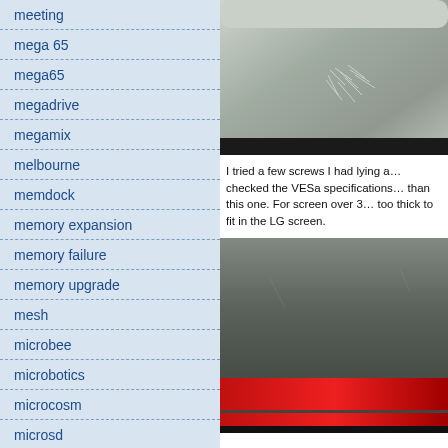meeting
mega 65
mega65
megadrive
megamix
melbourne
memdock
memory expansion
memory failure
memory upgrade
mesh
microbee
microbotics
microcosm
microsd
microserver
microsoft
microsoft 365
MIDI
[Figure (photo): Close-up photo of scratched surface, likely a screen or plastic panel with light scratch marks visible]
I tried a few screws I had lying a… checked the VESa specifications… than this one. For screen over 3… too thick to fit in the LG screen.
[Figure (photo): Close-up photo of a dark surface (screen back) with red stripe/branding element visible at bottom]